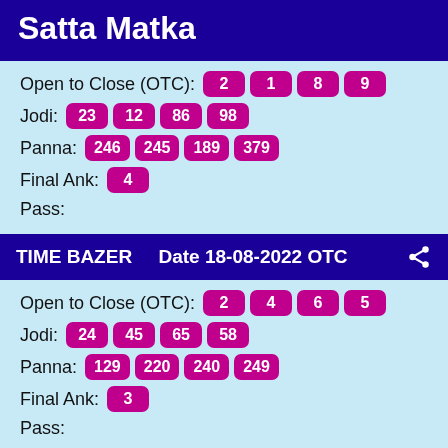Satta Matka
Open to Close (OTC): 2 1 8 9
Jodi: 23 12 86 98
Panna: 246 245 189 379
Final Ank: 4
Pass:
TIME BAZER   Date 18-08-2022 OTC
Open to Close (OTC): 2 4 6 5
Jodi: 24 45 65 58
Panna: 129 220 240 249
Final Ank: 3
Pass:
MILAN NIGHT   Date 18-08-2022 OTC